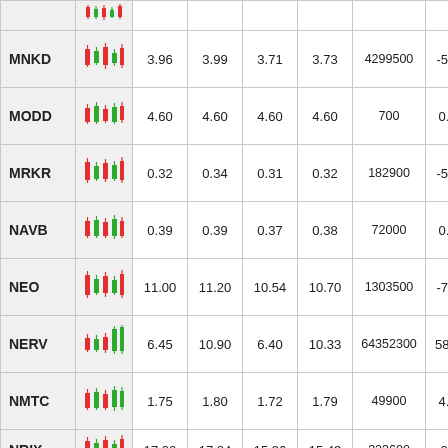| Ticker | Chart | Open | High | Low | Close | Volume | Change% |
| --- | --- | --- | --- | --- | --- | --- | --- |
| MNKD | [chart] | 3.96 | 3.99 | 3.71 | 3.73 | 4299500 | -5.81% |
| MODD | [chart] | 4.60 | 4.60 | 4.60 | 4.60 | 700 | 0.00% |
| MRKR | [chart] | 0.32 | 0.34 | 0.31 | 0.32 | 182900 | -5.88% |
| NAVB | [chart] | 0.39 | 0.39 | 0.37 | 0.38 | 72000 | 0.00% |
| NEO | [chart] | 11.00 | 11.20 | 10.54 | 10.70 | 1303500 | -7.68% |
| NERV | [chart] | 6.45 | 10.90 | 6.40 | 10.33 | 64352300 | 58.19% |
| NMTC | [chart] | 1.75 | 1.80 | 1.72 | 1.79 | 49900 | 4.07% |
| NRIX | [chart] | 17.00 | 17.24 | 15.36 | 15.43 | 323600 | -9.24% |